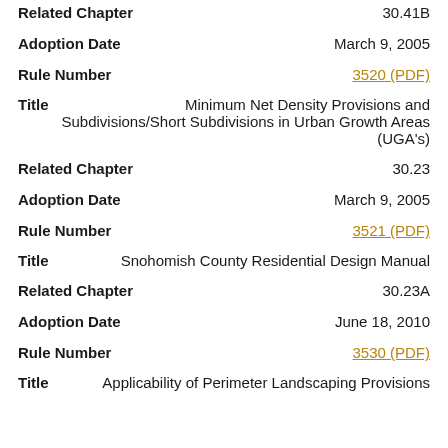Related Chapter   30.41B
Adoption Date   March 9, 2005
Rule Number   3520 (PDF)
Title   Minimum Net Density Provisions and Subdivisions/Short Subdivisions in Urban Growth Areas (UGA's)
Related Chapter   30.23
Adoption Date   March 9, 2005
Rule Number   3521 (PDF)
Title   Snohomish County Residential Design Manual
Related Chapter   30.23A
Adoption Date   June 18, 2010
Rule Number   3530 (PDF)
Title   Applicability of Perimeter Landscaping Provisions